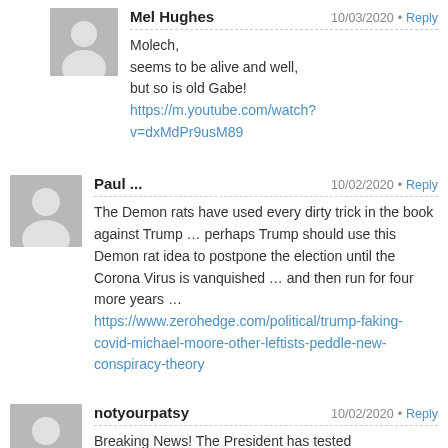[Figure (other): User avatar placeholder for Mel Hughes — grey silhouette icon]
Mel Hughes
10/03/2020 • Reply
Molech, seems to be alive and well, but so is old Gabe!
https://m.youtube.com/watch?v=dxMdPr9usM89
[Figure (other): User avatar placeholder for Paul ... — grey silhouette icon]
Paul ...
10/02/2020 • Reply
The Demon rats have used every dirty trick in the book against Trump … perhaps Trump should use this Demon rat idea to postpone the election until the Corona Virus is vanquished … and then run for four more years … https://www.zerohedge.com/political/trump-faking-covid-michael-moore-other-leftists-peddle-new-conspiracy-theory
[Figure (other): User avatar placeholder for notyourpatsy — grey silhouette icon]
notyourpatsy
10/02/2020 • Reply
Breaking News! The President has tested